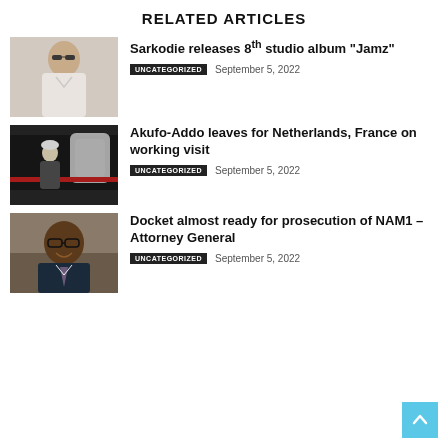RELATED ARTICLES
[Figure (photo): Man in white shirt and sunglasses]
Sarkodie releases 8th studio album “Jamz”
UNCATEGORIZED   September 5, 2022
[Figure (photo): Person boarding a private jet]
Akufo-Addo leaves for Netherlands, France on working visit
UNCATEGORIZED   September 5, 2022
[Figure (photo): Man in suit smiling, wearing glasses]
Docket almost ready for prosecution of NAM1 – Attorney General
UNCATEGORIZED   September 5, 2022